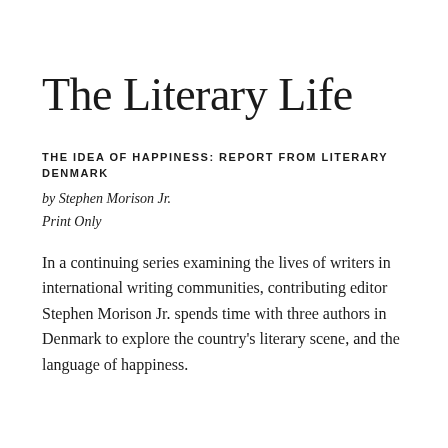The Literary Life
THE IDEA OF HAPPINESS: REPORT FROM LITERARY DENMARK
by Stephen Morison Jr.
Print Only
In a continuing series examining the lives of writers in international writing communities, contributing editor Stephen Morison Jr. spends time with three authors in Denmark to explore the country's literary scene, and the language of happiness.